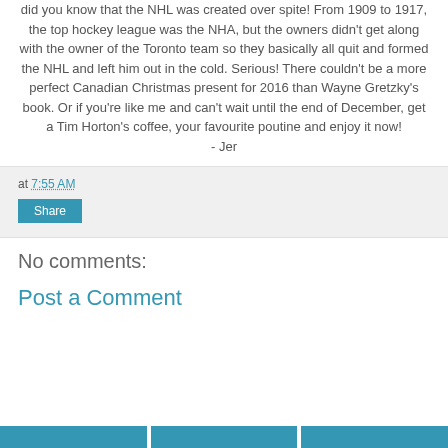did you know that the NHL was created over spite! From 1909 to 1917, the top hockey league was the NHA, but the owners didn't get along with the owner of the Toronto team so they basically all quit and formed the NHL and left him out in the cold. Serious! There couldn't be a more perfect Canadian Christmas present for 2016 than Wayne Gretzky's book. Or if you're like me and can't wait until the end of December, get a Tim Horton's coffee, your favourite poutine and enjoy it now!
- Jer
at 7:55 AM
Share
No comments:
Post a Comment